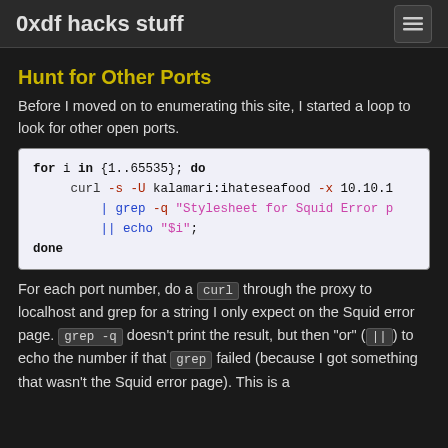0xdf hacks stuff
Hunt for Other Ports
Before I moved on to enumerating this site, I started a loop to look for other open ports.
for i in {1..65535}; do
    curl -s -U kalamari:ihateseafood -x 10.10.10...
        | grep -q "Stylesheet for Squid Error p..."
        || echo "$i";
done
For each port number, do a curl through the proxy to localhost and grep for a string I only expect on the Squid error page. grep -q doesn't print the result, but then "or" (||) to echo the number if that grep failed (because I got something that wasn't the Squid error page). This is a bit...